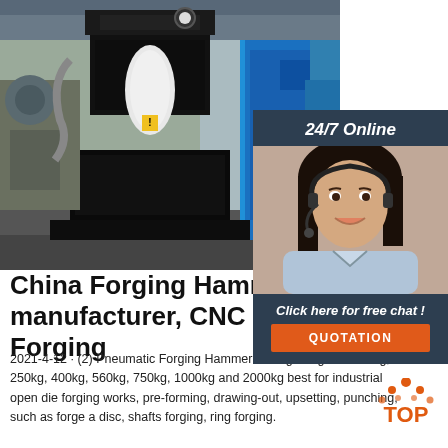[Figure (photo): Industrial forging hammer machine in a factory setting, with a large black press/hammer mechanism in the center and blue machinery in the background right]
[Figure (photo): Customer service agent woman wearing a headset, smiling, with '24/7 Online' label above and 'Click here for free chat!' and QUOTATION button below, on a dark blue-grey sidebar overlay]
China Forging Hammer manufacturer, CNC Forging
2021-4-12 · (2) Pneumatic Forging Hammer Falling Weight at 150kg, 250kg, 400kg, 560kg, 750kg, 1000kg and 2000kg best for industrial open die forging works, pre-forming, drawing-out, upsetting, punching, such as forge a disc, shafts forging, ring forging.